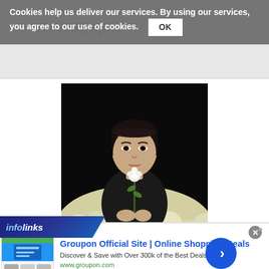Discography
Cookies help us deliver our services. By using our services, you agree to our use of cookies. OK
[Figure (photo): A woman in a black turtleneck holding a single white rose, surrounded by a large arrangement of white flowers, against a dark background. Album or artist promotional photo.]
infolinks
Groupon Official Site | Online Shopping Deals
Discover & Save with Over 300k of the Best Deals
www.groupon.com